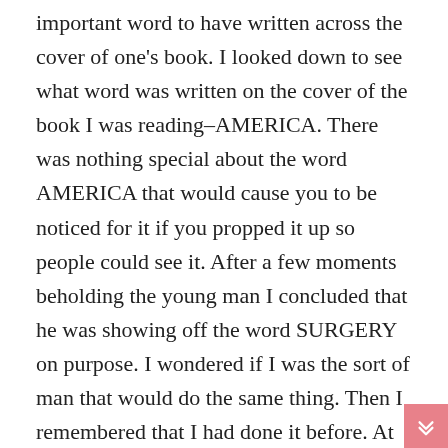important word to have written across the cover of one's book. I looked down to see what word was written on the cover of the book I was reading–AMERICA. There was nothing special about the word AMERICA that would cause you to be noticed for it if you propped it up so people could see it. After a few moments beholding the young man I concluded that he was showing off the word SURGERY on purpose. I wondered if I was the sort of man that would do the same thing. Then I remembered that I had done it before. At that very cafe' I had lifted up the cover of my Latin text book so that the woman sitting to the left of me would see the word LATIN on